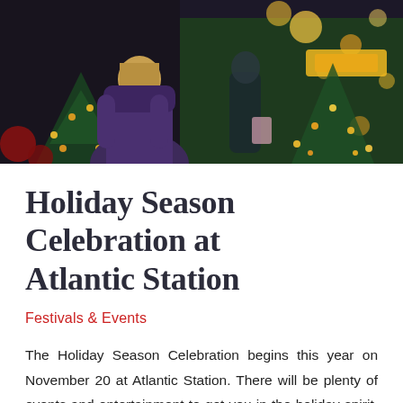[Figure (photo): Nighttime holiday scene at Atlantic Station. A woman in a purple puffer jacket is seen from behind. Background shows Christmas trees decorated with warm yellow lights, bokeh light effects, and a green storefront with yellow signage.]
Holiday Season Celebration at Atlantic Station
Festivals & Events
The Holiday Season Celebration begins this year on November 20 at Atlantic Station. There will be plenty of events and entertainment to get you in the holiday spirit. Festivities include live musical